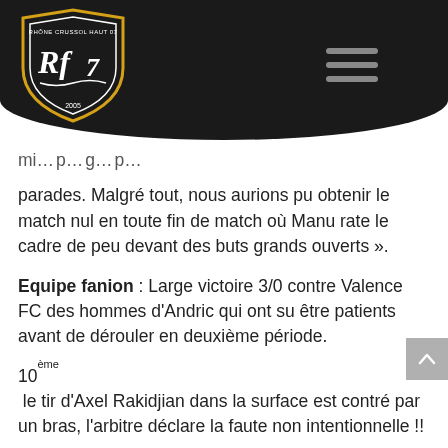[Figure (logo): Rhône Crussol Haut 07 club logo - shield shape with Rf7 lettering, est. 2005, white on dark background]
mi... p... g... p... parades. Malgré tout, nous aurions pu obtenir le match nul en toute fin de match où Manu rate le cadre de peu devant des buts grands ouverts ».
Equipe fanion : Large victoire 3/0 contre Valence FC des hommes d'Andric qui ont su être patients avant de dérouler en deuxième période.
10ème le tir d'Axel Rakidjian dans la surface est contré par un bras, l'arbitre déclare la faute non intentionnelle !!
Le RCF développe bien son jeu sans réelles occasions, mais Valence FC commence à subir et concède beaucoup de corners.
24ème Suite à un corner la tête de Lloris Leboulanger passe au-dessus